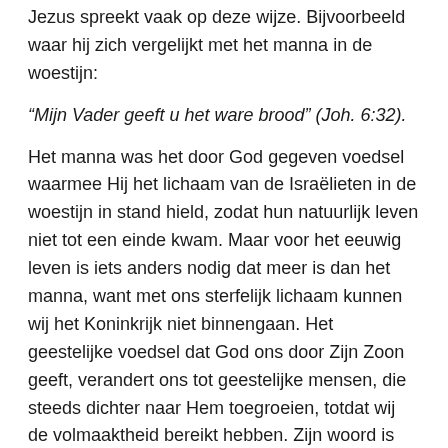Jezus spreekt vaak op deze wijze. Bijvoorbeeld waar hij zich vergelijkt met het manna in de woestijn:
“Mijn Vader geeft u het ware brood” (Joh. 6:32).
Het manna was het door God gegeven voedsel waarmee Hij het lichaam van de Israëlieten in de woestijn in stand hield, zodat hun natuurlijk leven niet tot een einde kwam. Maar voor het eeuwig leven is iets anders nodig dat meer is dan het manna, want met ons sterfelijk lichaam kunnen wij het Koninkrijk niet binnengaan. Het geestelijke voedsel dat God ons door Zijn Zoon geeft, verandert ons tot geestelijke mensen, die steeds dichter naar Hem toegroeien, totdat wij de volmaaktheid bereikt hebben. Zijn woord is het ware brood. In het Oude Testament wordt het volk Israël voorgesteld als wijnstok. Hosea zei
“Israël is een welige wijnstok” (10:1).